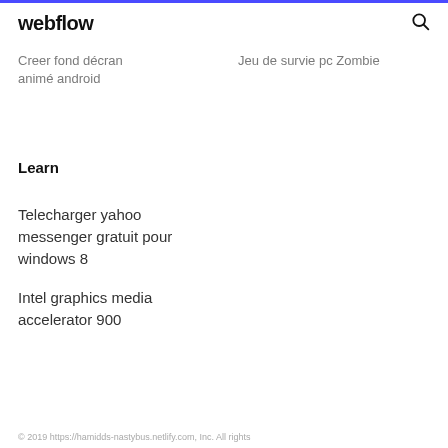webflow
Creer fond décran animé android
Jeu de survie pc Zombie
Learn
Telecharger yahoo messenger gratuit pour windows 8
Intel graphics media accelerator 900
© 2019 https://hamidds-nastybus.netlify.com, Inc. All rights